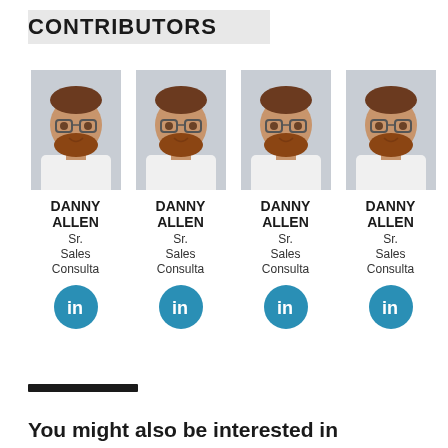CONTRIBUTORS
[Figure (photo): Headshot of Danny Allen, a man with glasses and a beard, smiling, wearing a white shirt]
DANNY ALLEN
Sr.
Sales
Consultant
[Figure (logo): LinkedIn icon button (teal circle with 'in')]
[Figure (photo): Headshot of Danny Allen, a man with glasses and a beard, smiling, wearing a white shirt]
DANNY ALLEN
Sr.
Sales
Consultant
[Figure (logo): LinkedIn icon button (teal circle with 'in')]
[Figure (photo): Headshot of Danny Allen, a man with glasses and a beard, smiling, wearing a white shirt]
DANNY ALLEN
Sr.
Sales
Consultant
[Figure (logo): LinkedIn icon button (teal circle with 'in')]
[Figure (photo): Headshot of Danny Allen, a man with glasses and a beard, smiling, wearing a white shirt]
DANNY ALLEN
Sr.
Sales
Consultant
[Figure (logo): LinkedIn icon button (teal circle with 'in')]
You might also be interested in